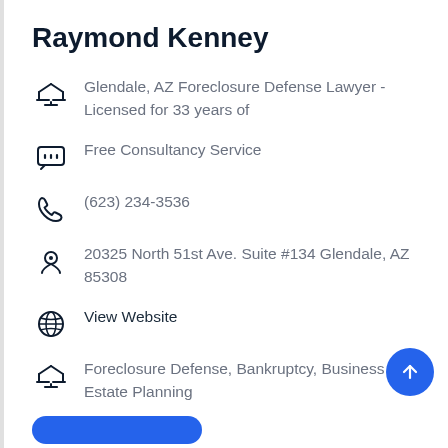Raymond Kenney
Glendale, AZ Foreclosure Defense Lawyer - Licensed for 33 years of
Free Consultancy Service
(623) 234-3536
20325 North 51st Ave. Suite #134 Glendale, AZ 85308
View Website
Foreclosure Defense, Bankruptcy, Business and Estate Planning